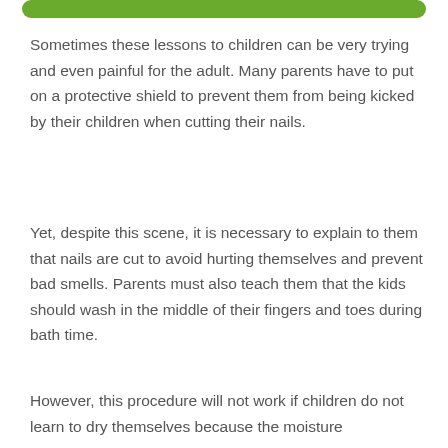[Figure (other): Green rounded rectangle bar at the top of the page]
Sometimes these lessons to children can be very trying and even painful for the adult. Many parents have to put on a protective shield to prevent them from being kicked by their children when cutting their nails.
Yet, despite this scene, it is necessary to explain to them that nails are cut to avoid hurting themselves and prevent bad smells. Parents must also teach them that the kids should wash in the middle of their fingers and toes during bath time.
However, this procedure will not work if children do not learn to dry themselves because the moisture